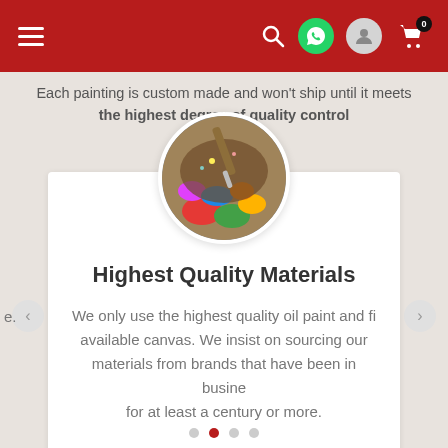Navigation bar with hamburger menu, search, WhatsApp, user, and cart icons
Each painting is custom made and won't ship until it meets the highest degree of quality control
[Figure (photo): Circular image of colorful oil paints and brushes on an artist palette]
Highest Quality Materials
We only use the highest quality oil paint and finest available canvas. We insist on sourcing our materials from brands that have been in business for at least a century or more.